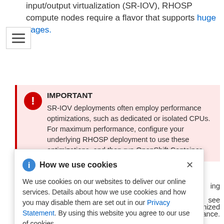input/output virtualization (SR-IOV), RHOSP compute nodes require a flavor that supports huge pages.
IMPORTANT
SR-IOV deployments often employ performance optimizations, such as dedicated or isolated CPUs. For maximum performance, configure your underlying RHOSP deployment to use these optimizations, and then run OpenShift Container ... optimized
How we use cookies
We use cookies on our websites to deliver our online services. Details about how we use cookies and how you may disable them are set out in our Privacy Statement. By using this website you agree to our use of cookies.